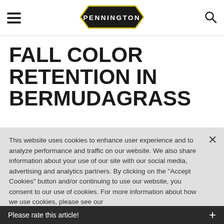[Figure (logo): Pennington logo in dark hexagonal/shield badge with white text]
FALL COLOR RETENTION IN BERMUDAGRASS
This website uses cookies to enhance user experience and to analyze performance and traffic on our website. We also share information about your use of our site with our social media, advertising and analytics partners. By clicking on the "Accept Cookies" button and/or continuing to use our website, you consent to our use of cookies. For more information about how we use cookies, please see our
Cookie Policy.
Please rate this article!